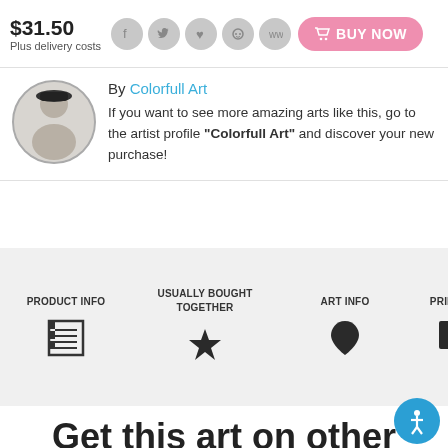$31.50
Plus delivery costs
[Figure (screenshot): Social media share icons (Facebook, Twitter, Pinterest, Reddit, link) and a pink BUY NOW button with cart icon]
By Colorfull Art
If you want to see more amazing arts like this, go to the artist profile "Colorfull Art" and discover your new purchase!
PRODUCT INFO
USUALLY BOUGHT TOGETHER
ART INFO
PRINT T
Get this art on other products